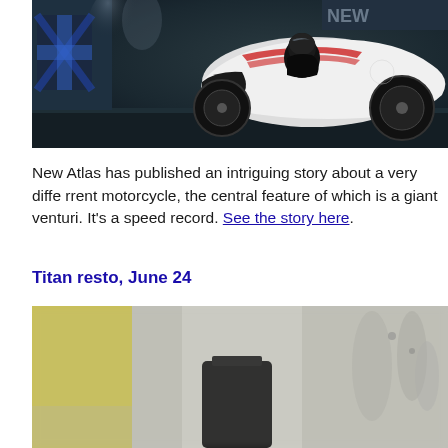[Figure (photo): A futuristic white motorcycle with a rider in black racing gear, photographed in a dark industrial setting. The motorcycle has a distinctive aerodynamic body with a large venturi feature.]
New Atlas has published an intriguing story about a very different motorcycle, the central feature of which is a giant venturi. It's a speed record. See the story here.
Titan resto, June 24
[Figure (photo): A blurred close-up photograph showing what appears to be a workshop or restoration scene with yellow and grey tones, and a dark object in the center.]